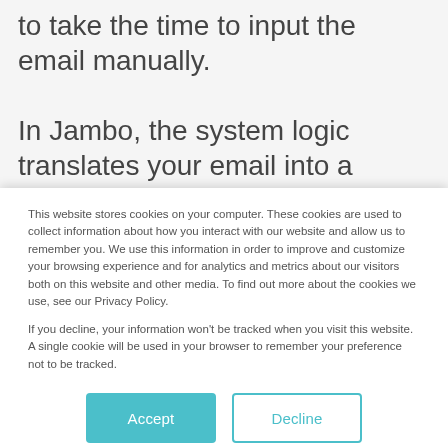to take the time to input the email manually.

In Jambo, the system logic translates your email into a readable communication record. It associates the email with known stakeholders in the system while adding any email attachments to the record, so everything is organized and
This website stores cookies on your computer. These cookies are used to collect information about how you interact with our website and allow us to remember you. We use this information in order to improve and customize your browsing experience and for analytics and metrics about our visitors both on this website and other media. To find out more about the cookies we use, see our Privacy Policy.

If you decline, your information won't be tracked when you visit this website. A single cookie will be used in your browser to remember your preference not to be tracked.
Accept
Decline